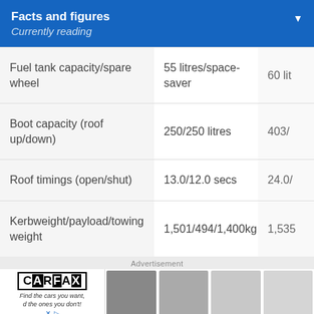Facts and figures
Currently reading
|  | Column 1 | Column 2 |
| --- | --- | --- |
| Fuel tank capacity/spare wheel | 55 litres/space-saver | 60 lit |
| Boot capacity (roof up/down) | 250/250 litres | 403/ |
| Roof timings (open/shut) | 13.0/12.0 secs | 24.0/ |
| Kerbweight/payload/towing weight | 1,501/494/1,400kg | 1,535 |
Advertisement
[Figure (other): CARFAX advertisement banner with logo and car images]